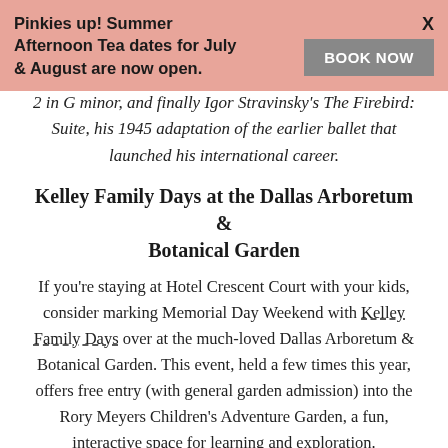Pinkies up! Summer Afternoon Tea dates for July & August are now open. BOOK NOW X
2 in G minor, and finally Igor Stravinsky's The Firebird: Suite, his 1945 adaptation of the earlier ballet that launched his international career.
Kelley Family Days at the Dallas Arboretum & Botanical Garden
If you're staying at Hotel Crescent Court with your kids, consider marking Memorial Day Weekend with Kelley Family Days over at the much-loved Dallas Arboretum & Botanical Garden. This event, held a few times this year, offers free entry (with general garden admission) into the Rory Meyers Children's Adventure Garden, a fun, interactive space for learning and exploration.